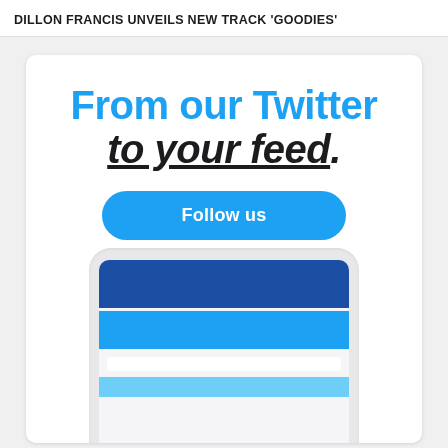DILLON FRANCIS UNVEILS NEW TRACK 'GOODIES'
From our Twitter to your feed.
Follow us
[Figure (illustration): A stylized phone mockup showing a Twitter-branded screen with dark blue and light blue horizontal bars, partially cropped at the bottom of the card.]